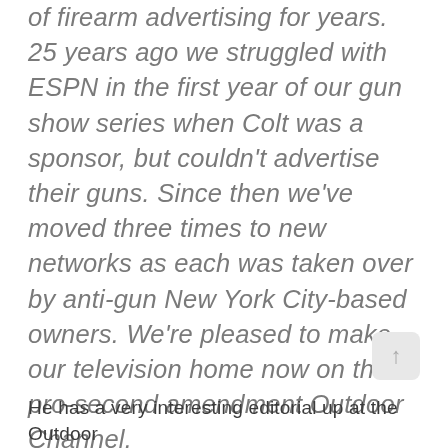of firearm advertising for years. 25 years ago we struggled with ESPN in the first year of our gun show series when Colt was a sponsor, but couldn't advertise their guns. Since then we've moved three times to new networks as each was taken over by anti-gun New York City-based owners. We're pleased to make our television home now on the pro-second amendment Outdoor Channel.
He has a very interesting editorial up at the Outdoor